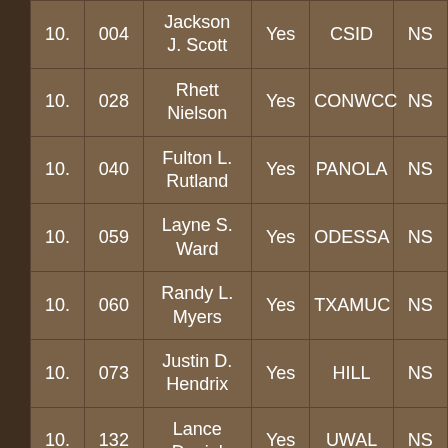| 10. | 004 | Jackson J. Scott | Yes | CSID | NS |
| 10. | 028 | Rhett Nielson | Yes | CONWCC | NS |
| 10. | 040 | Fulton L. Rutland | Yes | PANOLA | NS |
| 10. | 059 | Layne S. Ward | Yes | ODESSA | NS |
| 10. | 060 | Randy L. Myers | Yes | TXAMUC | NS |
| 10. | 073 | Justin D. Hendrix | Yes | HILL | NS |
| 10. | 132 | Lance Daniel | Yes | UWAL | NS |